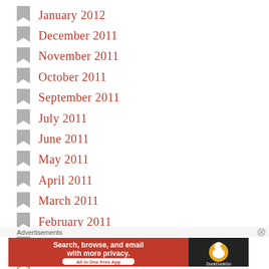January 2012
December 2011
November 2011
October 2011
September 2011
July 2011
June 2011
May 2011
April 2011
March 2011
February 2011
December 2010
June 2010
May 2010
April (partial, cut off)
Advertisements
[Figure (other): DuckDuckGo advertisement banner: Search, browse, and email with more privacy. All in One Free App. DuckDuckGo logo.]